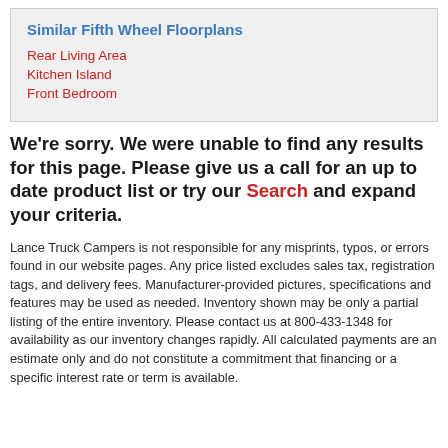Similar Fifth Wheel Floorplans
Rear Living Area
Kitchen Island
Front Bedroom
We're sorry. We were unable to find any results for this page. Please give us a call for an up to date product list or try our Search and expand your criteria.
Lance Truck Campers is not responsible for any misprints, typos, or errors found in our website pages. Any price listed excludes sales tax, registration tags, and delivery fees. Manufacturer-provided pictures, specifications and features may be used as needed. Inventory shown may be only a partial listing of the entire inventory. Please contact us at 800-433-1348 for availability as our inventory changes rapidly. All calculated payments are an estimate only and do not constitute a commitment that financing or a specific interest rate or term is available.